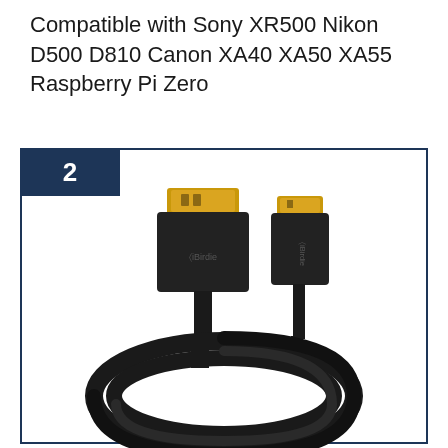Compatible with Sony XR500 Nikon D500 D810 Canon XA40 XA50 XA55 Raspberry Pi Zero
[Figure (photo): Product photo of an iBirdie HDMI to Mini-HDMI cable. Two gold-plated connectors (one full-size HDMI and one mini-HDMI) are shown at the top, both branded with the iBirdie logo. The black cable coils in a large loop at the bottom of the image.]